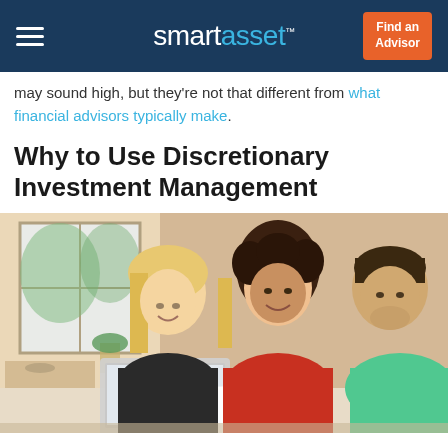smartasset™  Find an Advisor
may sound high, but they're not that different from what financial advisors typically make.
Why to Use Discretionary Investment Management
[Figure (photo): Three people — a blonde woman, a woman with curly hair in a red top, and a man in a green shirt — sitting at a table together looking at a laptop and documents, smiling.]